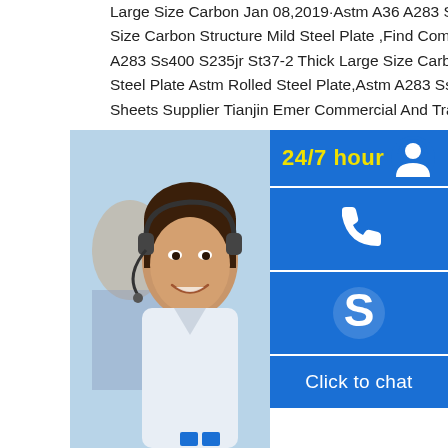Large Size Carbon Jan 08,2019·Astm A36 A283 Ss400 S235jr St37-2 Thick Large Size Carbon Structure Mild Steel Plate ,Find Complete Details about Astm A36 A283 Ss400 S235jr St37-2 Thick Large Size Carbon Structure Mild Steel Plate,Mild Steel Plate Astm Rolled Steel Plate,Astm A283 Ss400 Steel Plate from Steel Sheets Supplier Tianjin Emer Commercial And Trade
[Figure (photo): Customer service representative with headset, alongside a blue widget overlay showing 24/7 hour support with phone icon, Skype icon, and Click to chat button]
Astm A36 S235jr St37-2 Ss400 Q235
Astm A36 S235jr St37-2 Ss400 Q235b Complete Details about Astm A36 S235 Q235b A283c,Astm A36 Steel Plate Thickness,Astm A36 Standard Steel Plate Thickness,Material Astm A36 Ss400 Q235 Equivalent from Supplier or Manufacturer-Henan Bebon Iron & Steel ASTM A36 SS400 S235JR Black Steel astm a36 Steel Plate withChina ASTM A36 Steel Plate (Q235,SS400,S235JR,S355JR China ASTM A36 Steel